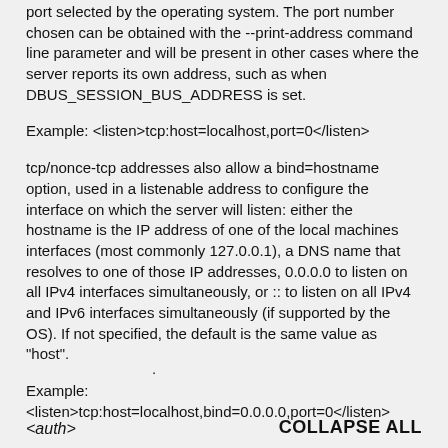port selected by the operating system. The port number chosen can be obtained with the --print-address command line parameter and will be present in other cases where the server reports its own address, such as when DBUS_SESSION_BUS_ADDRESS is set.
Example: <listen>tcp:host=localhost,port=0</listen>
tcp/nonce-tcp addresses also allow a bind=hostname option, used in a listenable address to configure the interface on which the server will listen: either the hostname is the IP address of one of the local machines interfaces (most commonly 127.0.0.1), a DNS name that resolves to one of those IP addresses, 0.0.0.0 to listen on all IPv4 interfaces simultaneously, or :: to listen on all IPv4 and IPv6 interfaces simultaneously (if supported by the OS). If not specified, the default is the same value as "host".
Example:
<listen>tcp:host=localhost,bind=0.0.0.0,port=0</listen>
·
<auth>
COLLAPSE ALL